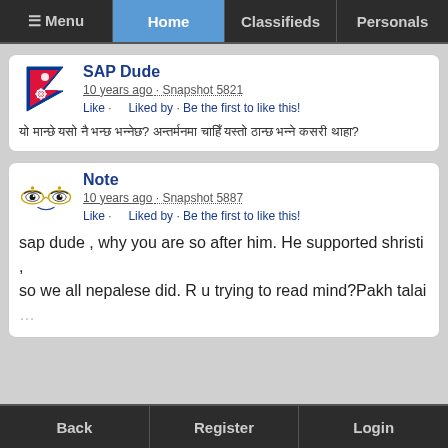Menu | Home | Classifieds | Personals
SAP Dude
10 years ago · Snapshot 5821
Like · Liked by · Be the first to like this!
[Nepali text post]
Note
10 years ago · Snapshot 5887
Like · Liked by · Be the first to like this!
sap dude , why you are so after him. He supported shristi , so we all nepalese did. R u trying to read mind?Pakh talai
Back | Register | Login